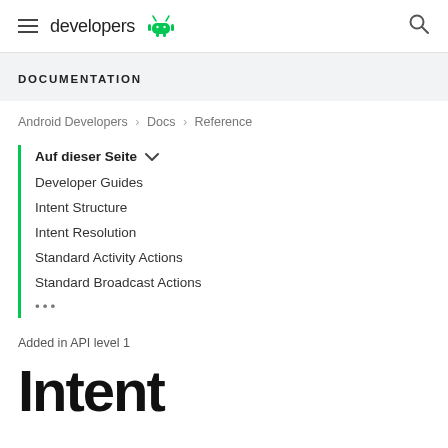developers [android logo]
DOCUMENTATION
Android Developers > Docs > Reference
Auf dieser Seite ∨
Developer Guides
Intent Structure
Intent Resolution
Standard Activity Actions
Standard Broadcast Actions
•••
Added in API level 1
Intent